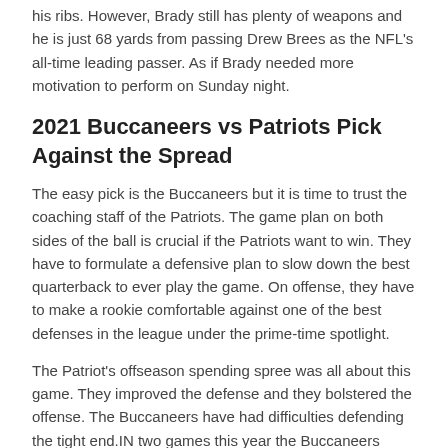his ribs. However, Brady still has plenty of weapons and he is just 68 yards from passing Drew Brees as the NFL's all-time leading passer. As if Brady needed more motivation to perform on Sunday night.
2021 Buccaneers vs Patriots Pick Against the Spread
The easy pick is the Buccaneers but it is time to trust the coaching staff of the Patriots. The game plan on both sides of the ball is crucial if the Patriots want to win. They have to formulate a defensive plan to slow down the best quarterback to ever play the game. On offense, they have to make a rookie comfortable against one of the best defenses in the league under the prime-time spotlight.
The Patriot's offseason spending spree was all about this game. They improved the defense and they bolstered the offense. The Buccaneers have had difficulties defending the tight end.IN two games this year the Buccaneers defense has allowed at least 300-yards passing.  Last week the Rams used the tight end to put up points and this week the Patriots will use the best TE duo in football to win this game. The Buccaneers have allowed a 91 percent